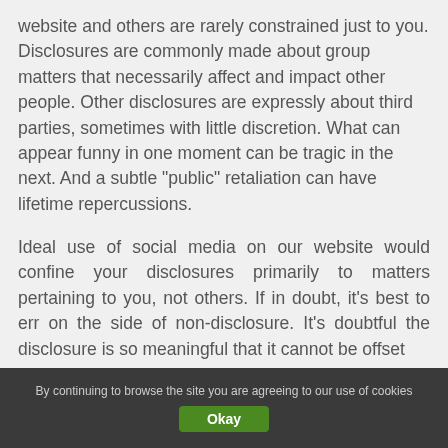website and others are rarely constrained just to you. Disclosures are commonly made about group matters that necessarily affect and impact other people. Other disclosures are expressly about third parties, sometimes with little discretion. What can appear funny in one moment can be tragic in the next. And a subtle "public" retaliation can have lifetime repercussions.
Ideal use of social media on our website would confine your disclosures primarily to matters pertaining to you, not others. If in doubt, it's best to err on the side of non-disclosure. It's doubtful the disclosure is so meaningful that it cannot be offset
By continuing to browse the site you are agreeing to our use of cookies
Okay